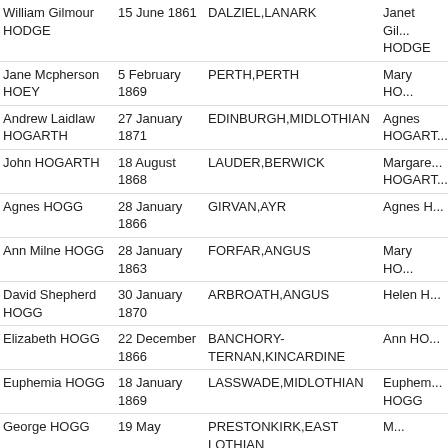| Name | Date | Place | Mother |
| --- | --- | --- | --- |
| William Gilmour HODGE | 15 June 1861 | DALZIEL,LANARK | Janet Gil... HODGE |
| Jane Mcpherson HOEY | 5 February 1869 | PERTH,PERTH | Mary HO... |
| Andrew Laidlaw HOGARTH | 27 January 1871 | EDINBURGH,MIDLOTHIAN | Agnes HOGART... |
| John HOGARTH | 18 August 1868 | LAUDER,BERWICK | Margare... HOGART... |
| Agnes HOGG | 28 January 1866 | GIRVAN,AYR | Agnes H... |
| Ann Milne HOGG | 28 January 1863 | FORFAR,ANGUS | Mary HO... |
| David Shepherd HOGG | 30 January 1870 | ARBROATH,ANGUS | Helen H... |
| Elizabeth HOGG | 22 December 1866 | BANCHORY-TERNAN,KINCARDINE | Ann HO... |
| Euphemia HOGG | 18 January 1869 | LASSWADE,MIDLOTHIAN | Euphem... HOGG |
| George HOGG | 19 May ... | PRESTONKIRK,EAST LOTHIAN | M... |